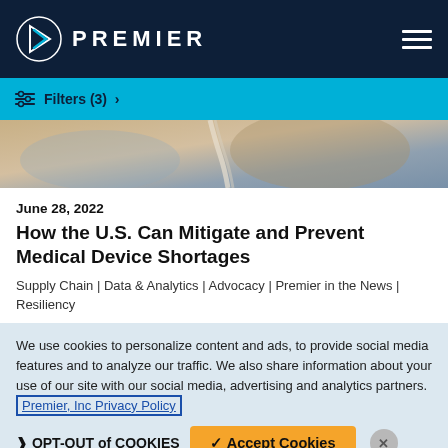[Figure (logo): Premier Inc. logo with triangular arrow icon and PREMIER text in white on dark navy background, with hamburger menu icon on the right]
Filters (3) >
[Figure (photo): Close-up photo of medical IV tubing and equipment with blurred background]
June 28, 2022
How the U.S. Can Mitigate and Prevent Medical Device Shortages
Supply Chain | Data & Analytics | Advocacy | Premier in the News | Resiliency
We use cookies to personalize content and ads, to provide social media features and to analyze our traffic. We also share information about your use of our site with our social media, advertising and analytics partners. Premier, Inc Privacy Policy
> OPT-OUT of COOKIES    ✓ Accept Cookies    ×